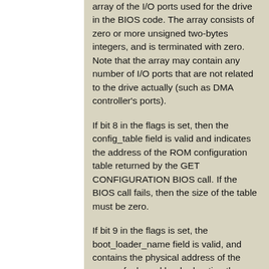array of the I/O ports used for the drive in the BIOS code. The array consists of zero or more unsigned two-bytes integers, and is terminated with zero. Note that the array may contain any number of I/O ports that are not related to the drive actually (such as DMA controller's ports).
If bit 8 in the flags is set, then the config_table field is valid and indicates the address of the ROM configuration table returned by the GET CONFIGURATION BIOS call. If the BIOS call fails, then the size of the table must be zero.
If bit 9 in the flags is set, the boot_loader_name field is valid, and contains the physical address of the name of a kernel loader booting the